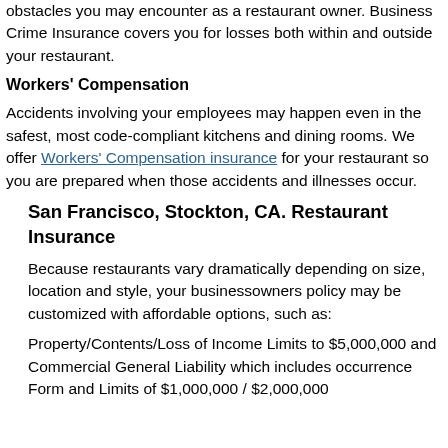obstacles you may encounter as a restaurant owner. Business Crime Insurance covers you for losses both within and outside your restaurant.
Workers' Compensation
Accidents involving your employees may happen even in the safest, most code-compliant kitchens and dining rooms. We offer Workers' Compensation insurance for your restaurant so you are prepared when those accidents and illnesses occur.
San Francisco, Stockton, CA. Restaurant Insurance
Because restaurants vary dramatically depending on size, location and style, your businessowners policy may be customized with affordable options, such as:
Property/Contents/Loss of Income Limits to $5,000,000 and Commercial General Liability which includes occurrence Form and Limits of $1,000,000 / $2,000,000